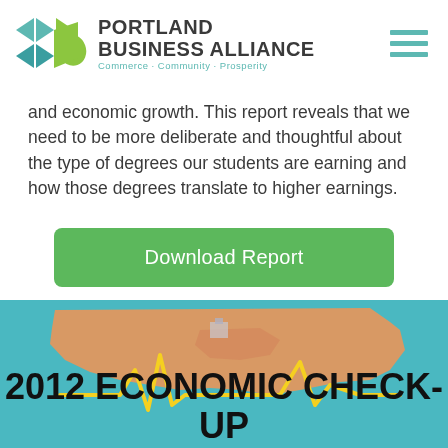Portland Business Alliance — Commerce · Community · Prosperity
and economic growth. This report reveals that we need to be more deliberate and thoughtful about the type of degrees our students are earning and how those degrees translate to higher earnings.
Download Report
[Figure (infographic): Oregon state map illustration with teal background and yellow heartbeat/EKG line graphic, with large bold text overlay reading '2012 ECONOMIC CHECK-UP']